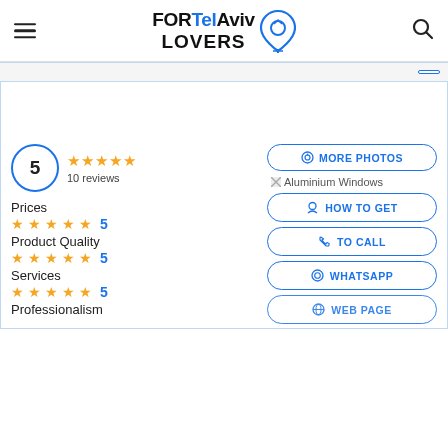FOR Tel Aviv LOVERS
5  ★★★★★  10 reviews
📷 MORE PHOTOS
Aluminium Windows
Prices
★★★★★  5
Product Quality
★★★★★  5
Services
★★★★★  5
Professionalism
HOW TO GET
TO CALL
WHATSAPP
WEB PAGE